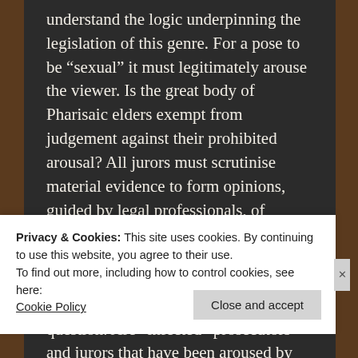understand the logic underpinning the legislation of this genre. For a pose to be “sexual” it must legitimately arouse the viewer. Is the great body of Pharisaic elders exempt from judgement against their prohibited arousal? All jurors must scrutinise material evidence to form opinions, guided by legal professionals, of course. Child pornographic slides (when no sexual act can be identified) must cause sexual arousal to meet classification leaving only one question. Are “infected” prosecutors and jurors that have been aroused by child pornography safe to circulate socially
Privacy & Cookies: This site uses cookies. By continuing to use this website, you agree to their use.
To find out more, including how to control cookies, see here:
Cookie Policy
Close and accept